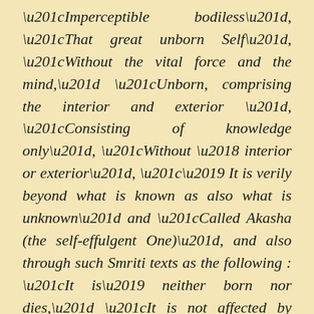“Imperceptible bodiless”, “That great unborn Self”, “Without the vital force and the mind,” “Unborn, comprising the interior and exterior ”, “Consisting of knowledge only”, “Without ‘ interior or exterior”, “’ It is verily beyond what is known as also what is unknown” and “Called Akasha (the self-effulgent One)”, and also through such Smriti texts as the following : “It is’ neither born nor dies,” “It is not affected by anybody’s sins,” “Just’ as air is always in the ether,” “The individual Self should be regarded as the universe alone,” “It is called neither existent nor